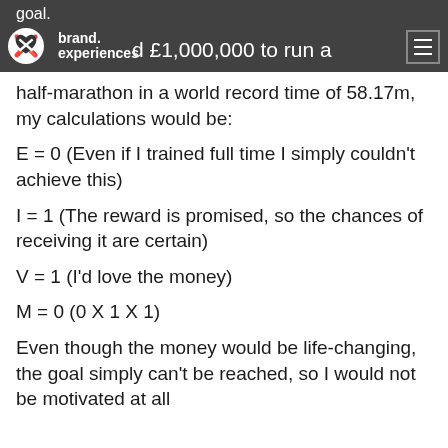goal. brand. experiences — offered £1,000,000 to run a
half-marathon in a world record time of 58.17m, my calculations would be:
Even though the money would be life-changing, the goal simply can't be reached, so I would not be motivated at all